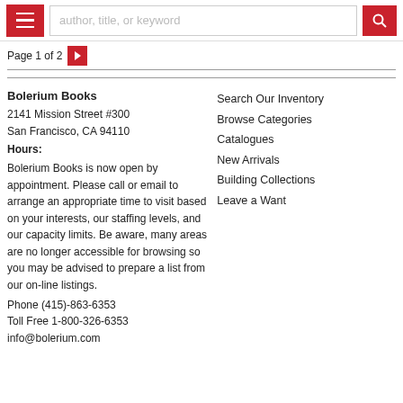[Figure (screenshot): Website header bar with hamburger menu button (red), search input field with placeholder 'author, title, or keyword', and red search/magnifier button]
Page 1 of 2
Bolerium Books
2141 Mission Street #300
San Francisco, CA 94110
Hours:
Bolerium Books is now open by appointment. Please call or email to arrange an appropriate time to visit based on your interests, our staffing levels, and our capacity limits. Be aware, many areas are no longer accessible for browsing so you may be advised to prepare a list from our on-line listings.
Phone (415)-863-6353
Toll Free 1-800-326-6353
info@bolerium.com
Search Our Inventory
Browse Categories
Catalogues
New Arrivals
Building Collections
Leave a Want